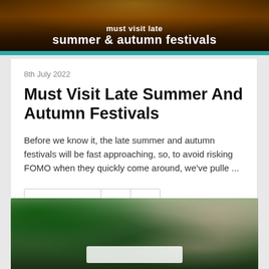[Figure (photo): Banner image showing fireworks in the background with bold white text reading 'Must Visit Late summer & autumn festivals' on a dark background with a teal bar at the bottom]
8th July 2022
Must Visit Late Summer And Autumn Festivals
Before we know it, the late summer and autumn festivals will be fast approaching, so, to avoid risking FOMO when they quickly come around, we've pulle ...
[Figure (other): Share bar with heart/Share button, Facebook icon button, and Twitter icon button]
[Figure (photo): A garden or outdoor festival scene with lush green plants and foliage, a woman with blonde hair visible, and other people in the background near metal railings]